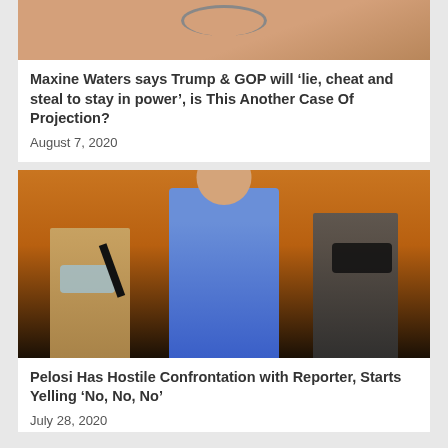[Figure (photo): Partial photo showing bottom of a person wearing a peach/salmon colored top with a layered necklace, cropped at top of page]
Maxine Waters says Trump & GOP will ‘lie, cheat and steal to stay in power’, is This Another Case Of Projection?
August 7, 2020
[Figure (photo): Photo of Nancy Pelosi at a press conference speaking with finger raised, wearing a blue jacket. Two masked men stand behind her on left and right. Orange/brown background with lighting.]
Pelosi Has Hostile Confrontation with Reporter, Starts Yelling ‘No, No, No’
July 28, 2020